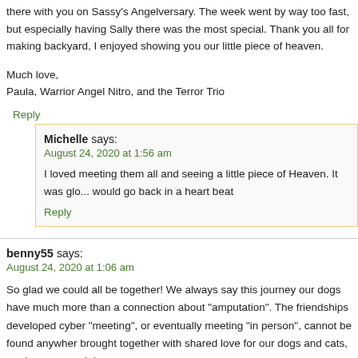there with you on Sassy's Angelversary. The week went by way too fast, but especially having Sally there was the most special. Thank you all for making backyard, I enjoyed showing you our little piece of heaven.
Much love,
Paula, Warrior Angel Nitro, and the Terror Trio
Reply
Michelle says:
August 24, 2020 at 1:56 am
I loved meeting them all and seeing a little piece of Heaven. It was glo... would go back in a heart beat
Reply
benny55 says:
August 24, 2020 at 1:06 am
So glad we could all be together! We always say this journey our dogs have much more than a connection about "amputation". The friendships developed cyber "meeting", or eventually meeting "in person", cannot be found anywher brought together with shared love for our dogs and cats, our hope, our celeb